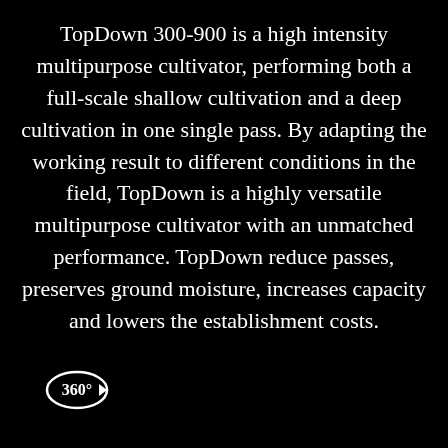TopDown 300-900 is a high intensity multipurpose cultivator, performing both a full-scale shallow cultivation and a deep cultivation in one single pass. By adapting the working result to different conditions in the field, TopDown is a highly versatile multipurpose cultivator with an unmatched performance. TopDown reduce passes, preserves ground moisture, increases capacity and lowers the establishment costs.
[Figure (logo): 360 degree rotation logo: circular arrow with '360°' text inside]